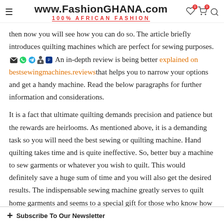www.FashionGHANA.com — 100% AFRICAN FASHION
then now you will see how you can do so. The article briefly introduces quilting machines which are perfect for sewing purposes. An in-depth review is being better explained on bestsewingmachines.reviews that helps you to narrow your options and get a handy machine. Read the below paragraphs for further information and considerations.
It is a fact that ultimate quilting demands precision and patience but the rewards are heirlooms. As mentioned above, it is a demanding task so you will need the best sewing or quilting machine. Hand quilting takes time and is quite ineffective. So, better buy a machine to sew garments or whatever you wish to quilt. This would definitely save a huge sum of time and you will also get the desired results. The indispensable sewing machine greatly serves to quilt home garments and seems to a special gift for those who know how to use it. Given below are some of the benefits of best sewing machines so have a look over it.
+ Subscribe To Our Newsletter